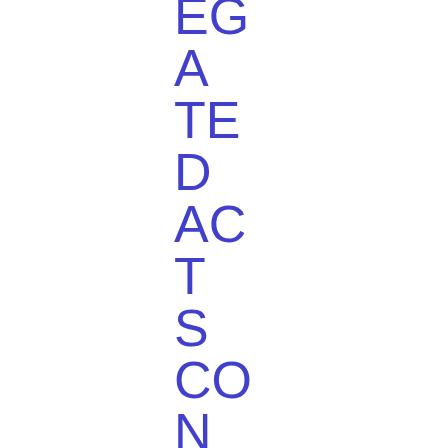EGATED ACTS CONCERNING THE REGULATION ON INSIDER DEALING AND MARKET MANIPUL